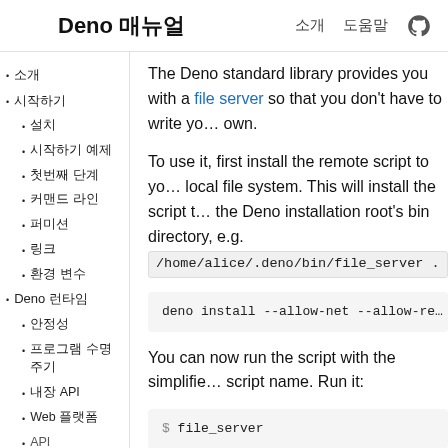Deno 매뉴얼  소개  도움말
소개
시작하기
설치
시작하기 예제
첫번째 단계
커맨드 라인
퍼미션
링크
환경 변수
Deno 런타임
안정성
프로그램 수명주기
내장 API
Web 플랫폼
API
The Deno standard library provides you with a file server so that you don't have to write your own.
To use it, first install the remote script to your local file system. This will install the script to the Deno installation root's bin directory, e.g. /home/alice/.deno/bin/file_server .
deno install --allow-net --allow-re…
You can now run the script with the simplified script name. Run it:
$ file_server